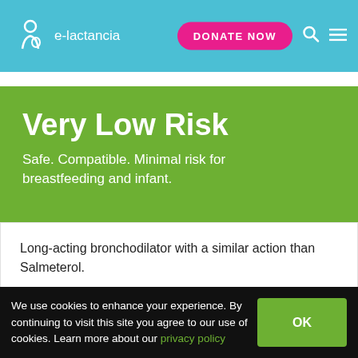e-lactancia — DONATE NOW
Very Low Risk
Safe. Compatible. Minimal risk for breastfeeding and infant.
Long-acting bronchodilator with a similar action than Salmeterol.
At latest update no published data on excretion into breast milk were found.
We use cookies to enhance your experience. By continuing to visit this site you agree to our use of cookies. Learn more about our privacy policy